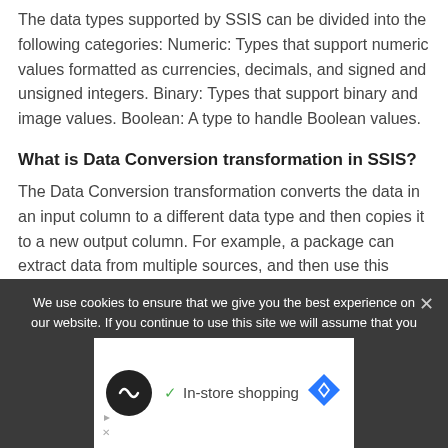The data types supported by SSIS can be divided into the following categories: Numeric: Types that support numeric values formatted as currencies, decimals, and signed and unsigned integers. Binary: Types that support binary and image values. Boolean: A type to handle Boolean values.
What is Data Conversion transformation in SSIS?
The Data Conversion transformation converts the data in an input column to a different data type and then copies it to a new output column. For example, a package can extract data from multiple sources, and then use this
We use cookies to ensure that we give you the best experience on our website. If you continue to use this site we will assume that you
[Figure (other): Advertisement banner showing a black circle icon with infinity-like symbol, a checkmark with 'In-store shopping' text, and a blue diamond navigation icon. Ad labels with arrows and X at the bottom left.]